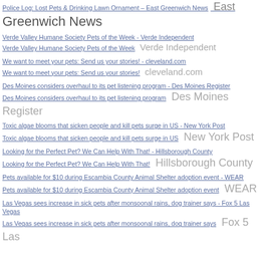Police Log: Lost Pets & Drinking Lawn Ornament – East Greenwich News  East Greenwich News
Verde Valley Humane Society Pets of the Week - Verde Independent
Verde Valley Humane Society Pets of the Week  Verde Independent
We want to meet your pets: Send us your stories! - cleveland.com
We want to meet your pets: Send us your stories!  cleveland.com
Des Moines considers overhaul to its pet listening program - Des Moines Register
Des Moines considers overhaul to its pet listening program  Des Moines Register
Toxic algae blooms that sicken people and kill pets surge in US - New York Post
Toxic algae blooms that sicken people and kill pets surge in US  New York Post
Looking for the Perfect Pet? We Can Help With That! - Hillsborough County
Looking for the Perfect Pet? We Can Help With That!  Hillsborough County
Pets available for $10 during Escambia County Animal Shelter adoption event - WEAR
Pets available for $10 during Escambia County Animal Shelter adoption event  WEAR
Las Vegas sees increase in sick pets after monsoonal rains, dog trainer says - Fox 5 Las Vegas
Las Vegas sees increase in sick pets after monsoonal rains, dog trainer says  Fox 5 Las Vegas